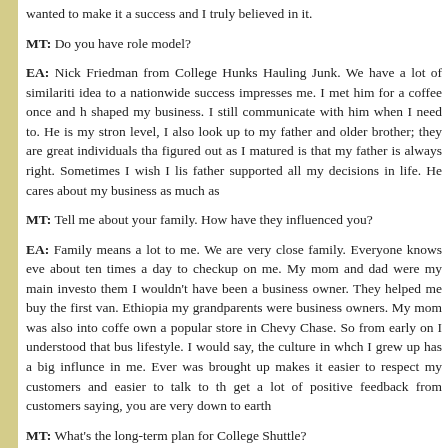wanted to make it a success and I truly believed in it.
MT: Do you have role model?
EA: Nick Friedman from College Hunks Hauling Junk. We have a lot of similarities idea to a nationwide success impresses me. I met him for a coffee once and he shaped my business. I still communicate with him when I need to. He is my strong level, I also look up to my father and older brother; they are great individuals that figured out as I matured is that my father is always right. Sometimes I wish I lis father supported all my decisions in life. He cares about my business as much as
MT: Tell me about your family. How have they influenced you?
EA: Family means a lot to me. We are very close family. Everyone knows eve about ten times a day to checkup on me. My mom and dad were my main investo them I wouldn't have been a business owner. They helped me buy the first van. Ethiopia my grandparents were business owners. My mom was also into coffe own a popular store in Chevy Chase. So from early on I understood that bus lifestyle. I would say, the culture in whch I grew up has a big influnce in me. Ever was brought up makes it easier to respect my customers and easier to talk to th get a lot of positive feedback from customers saying, you are very down to earth
MT: What's the long-term plan for College Shuttle?